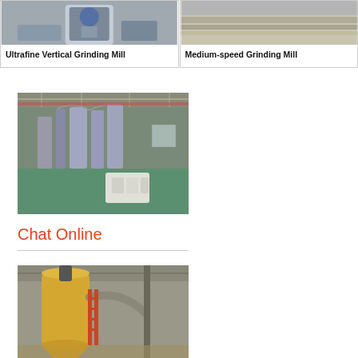[Figure (photo): Ultrafine Vertical Grinding Mill industrial machinery photo]
Ultrafine Vertical Grinding Mill
[Figure (photo): Medium-speed Grinding Mill industrial machinery photo]
Medium-speed Grinding Mill
[Figure (photo): Factory interior with industrial grinding/milling equipment and green floor]
Chat Online
[Figure (photo): Industrial yellow dust collector or filter equipment inside a warehouse]